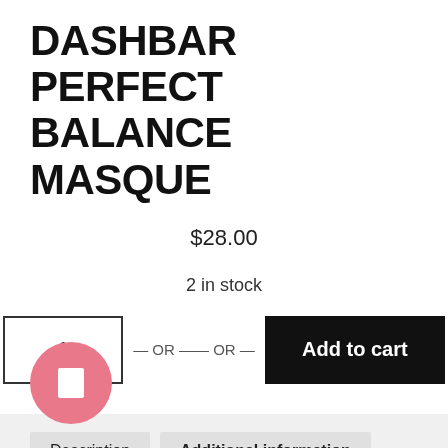DASHBAR PERFECT BALANCE MASQUE
$28.00
2 in stock
1 — OR —— OR — Add to cart
Description
Additional information
Reviews (0)